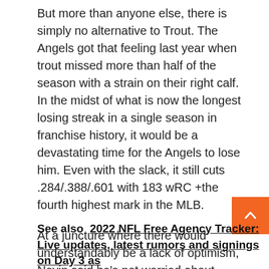But more than anyone else, there is simply no alternative to Trout. The Angels got that feeling last year when trout missed more than half of the season with a strain on their right calf. In the midst of what is now the longest losing streak in a single season in franchise history, it would be a devastating time for the Angels to lose him. Even with the slack, it still cuts .284/.388/.601 with 183 wRC +the fourth highest mark in the MLB.
At a juncture where there would understandably be a lack of optimism, Nevin said he's not worried about showing his players a fight.
See also  2022 NFL Free Agency Tracker: Live updates, latest rumors and signings on Day 3 as